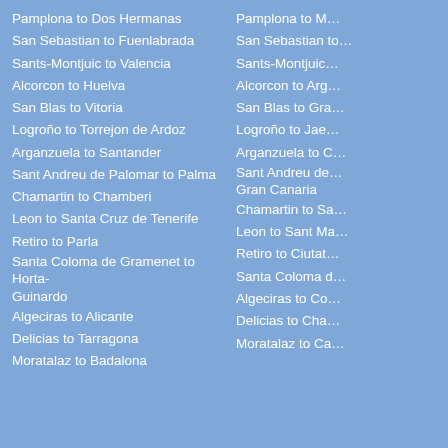Pamplona to Dos Hermanas
San Sebastian to Fuenlabrada
Sants-Montjuic to Valencia
Alcorcon to Huelva
San Blas to Vitoria
Logroño to Torrejon de Ardoz
Arganzuela to Santander
Sant Andreu de Palomar to Palma
Chamartin to Chamberi
Leon to Santa Cruz de Tenerife
Retiro to Parla
Santa Coloma de Gramenet to Horta-Guinardo
Algeciras to Alicante
Delicias to Tarragona
Moratalaz to Badalona
Pamplona to M…
San Sebastian to…
Sants-Montjuic…
Alcorcon to Arg…
San Blas to Gra…
Logroño to Jae…
Arganzuela to C…
Sant Andreu de… Gran Canaria
Chamartin to Sa…
Leon to Sant Ma…
Retiro to Ciutat…
Santa Coloma d…
Algeciras to Co…
Delicias to Cha…
Moratalaz to Ca…